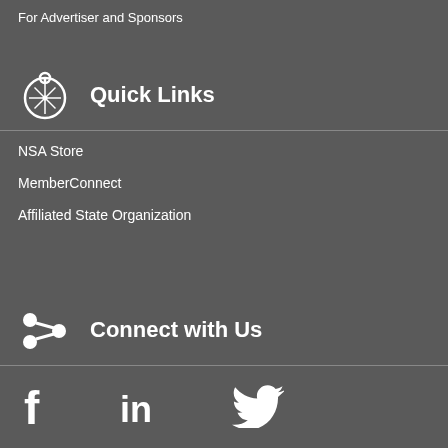For Advertiser and Sponsors
Quick Links
NSA Store
MemberConnect
Affiliated State Organization
Connect with Us
[Figure (infographic): Social media icons: Facebook (f), LinkedIn (in), Twitter (bird)]